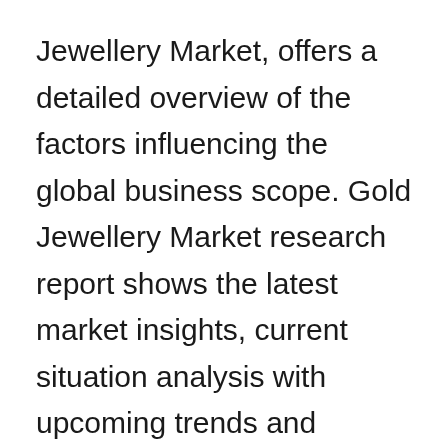Jewellery Market, offers a detailed overview of the factors influencing the global business scope. Gold Jewellery Market research report shows the latest market insights, current situation analysis with upcoming trends and breakdown of the products and services. The report provides key statistics on the market status, size, share, growth factors of the Gold Jewellery. The study covers emerging player's data, including: competitive landscape, sales, revenue and global market share of top manufacturers are: DCK Concessions (England),Yurman Design, Inc. (United States),LOUIS VUITTON (France),Avon Product Inc. (United Kingdom),Swank, Inc. (United States),Cartier (France),Buckley Jewellery Limited